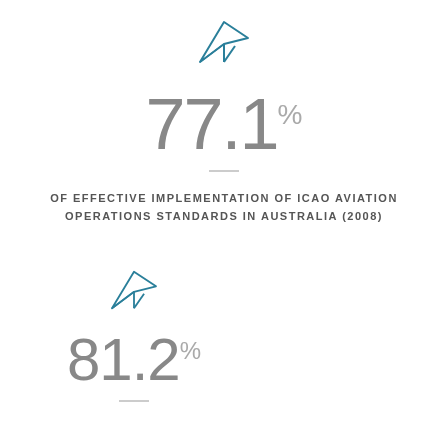[Figure (illustration): Teal/blue paper plane icon]
77.1%
OF EFFECTIVE IMPLEMENTATION OF ICAO AVIATION OPERATIONS STANDARDS IN AUSTRALIA (2008)
[Figure (illustration): Teal/blue paper plane icon]
81.2%